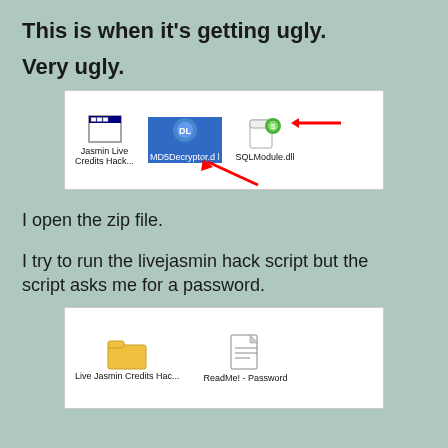This is when it's getting ugly.
Very ugly.
[Figure (screenshot): Windows Explorer showing three files: Jasmin Live Credits Hack..., MD5Decryptor.dl (selected, highlighted blue), and SQLModule.dll with a red arrow pointing to it and another red arrow pointing to MD5Decryptor.]
I open the zip file.
I try to run the livejasmin hack script but the script asks me for a password.
[Figure (screenshot): Windows Explorer showing two files: Live Jasmin Credits Hac... (folder icon) and ReadMe! - Password (document icon)]